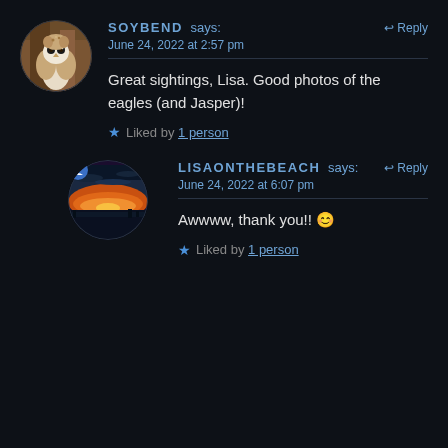[Figure (photo): Circular avatar photo of a barn owl perched on wood, for user SOYBEND]
SOYBEND says: ↩ Reply
June 24, 2022 at 2:57 pm
Great sightings, Lisa. Good photos of the eagles (and Jasper)!
★ Liked by 1 person
[Figure (photo): Circular avatar photo of a sunset over water/beach, for user LISAONTHEBEACH, with a small user icon badge]
LISAONTHEBEACH says: ↩ Reply
June 24, 2022 at 6:07 pm
Awwww, thank you!! 😊
★ Liked by 1 person